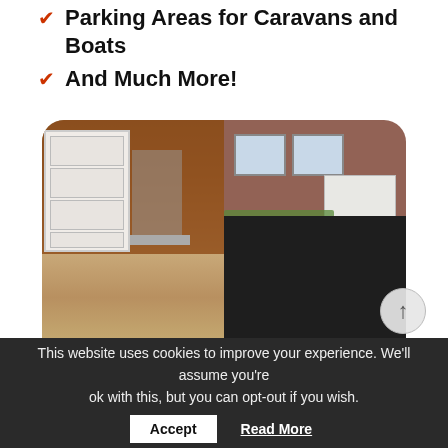Parking Areas for Caravans and Boats
And Much More!
[Figure (photo): Before and after comparison photo of a driveway. Left side shows a gravel/dirt driveway in front of a brick house with a white garage door. Right side shows the same driveway after tarmac installation with a brick border edging. Navigation arrows visible in center. Scroll-to-top button on lower right.]
This website uses cookies to improve your experience. We'll assume you're ok with this, but you can opt-out if you wish.